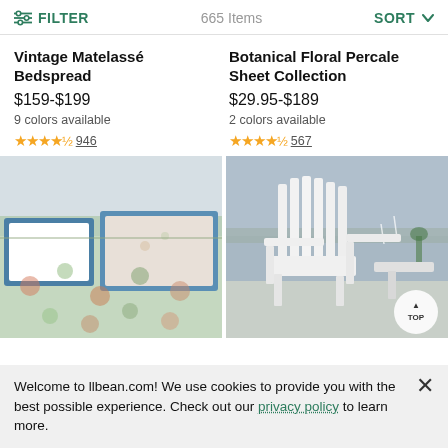FILTER  665 Items  SORT
Vintage Matelassé Bedspread
$159-$199
9 colors available
★★★★½ 946
Botanical Floral Percale Sheet Collection
$29.95-$189
2 colors available
★★★★½ 567
[Figure (photo): Vintage Matelassé Bedspread product photo showing floral patterned bedspread with white pillows and blue border accents]
[Figure (photo): Outdoor white Adirondack chair by the water with boats in the background, coastal scene]
Welcome to llbean.com! We use cookies to provide you with the best possible experience. Check out our privacy policy to learn more.